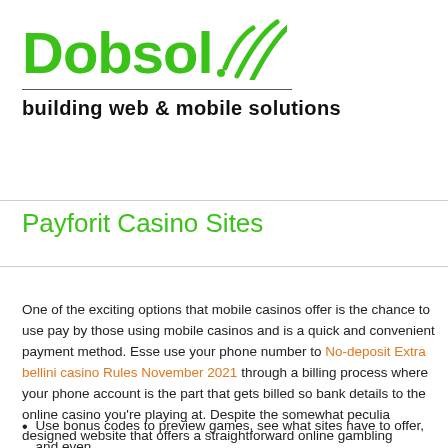[Figure (logo): Dobsol logo with green text and wifi/signal arc graphic, tagline 'building web & mobile solutions']
Payforit Casino Sites
One of the exciting options that mobile casinos offer is the chance to use pay by those using mobile casinos and is a quick and convenient payment method. Esse use your phone number to No-deposit Extra bellini casino Rules November 2021 through a billing process where your phone account is the part that gets billed so bank details to the online casino you're playing at. Despite the somewhat peculia designed website that offers a straightforward online gambling experience.
Use bonus codes to preview games, see what sites have to offer, and even